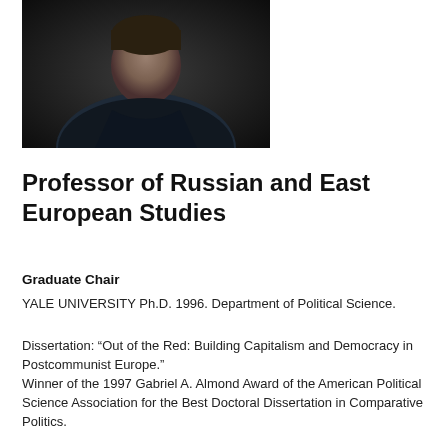[Figure (photo): Portrait photo of a man in a dark jacket against a dark background]
Professor of Russian and East European Studies
Graduate Chair
YALE UNIVERSITY Ph.D. 1996. Department of Political Science.
Dissertation: “Out of the Red: Building Capitalism and Democracy in Postcommunist Europe.”
Winner of the 1997 Gabriel A. Almond Award of the American Political Science Association for the Best Doctoral Dissertation in Comparative Politics.
HARVARD UNIVERSITY A.B. cum laude in Social Studies June 1989.
Professor Orenstein’s research focuses on the political